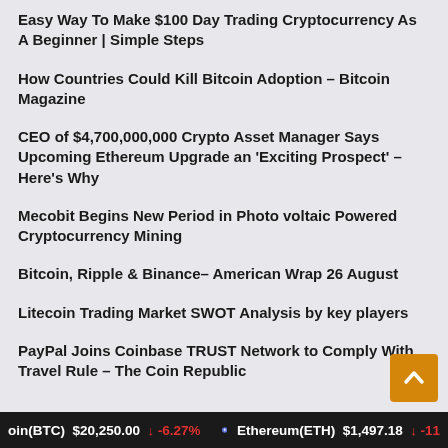Easy Way To Make $100 Day Trading Cryptocurrency As A Beginner | Simple Steps
How Countries Could Kill Bitcoin Adoption – Bitcoin Magazine
CEO of $4,700,000,000 Crypto Asset Manager Says Upcoming Ethereum Upgrade an 'Exciting Prospect' – Here's Why
Mecobit Begins New Period in Photo voltaic Powered Cryptocurrency Mining
Bitcoin, Ripple & Binance– American Wrap 26 August
Litecoin Trading Market SWOT Analysis by key players
PayPal Joins Coinbase TRUST Network to Comply With Travel Rule – The Coin Republic
oin(BTC)  $20,250.00  ↓  -6.27%     Ethereum(ETH)  $1,497.18  ↓  -11